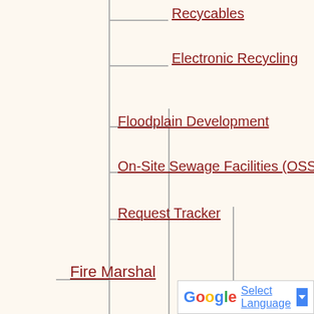Recycables
Electronic Recycling
Floodplain Development
On-Site Sewage Facilities (OSSF)
Request Tracker
Fire Marshal
Fire Marshal Home
Controlled Burning
Prevention and Safety
Fire Marshal Home
Arson Tip / Crime Stoppers
Fire Prevention
Tips for Fire Prevention
Tips on Escaping Fires
Fire Safety Tips
Holiday Safety...